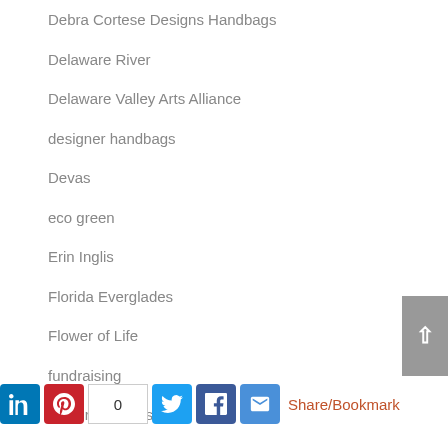Debra Cortese Designs Handbags
Delaware River
Delaware Valley Arts Alliance
designer handbags
Devas
eco green
Erin Inglis
Florida Everglades
Flower of Life
fundraising
General optimism
gicleés
Gift Certificates
GIVEAWAY